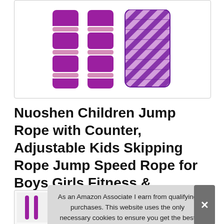[Figure (photo): Product photo showing two purple foam-grip jump rope handles with pink accent rings and a coiled purple/white braided jump rope]
Nuoshen Children Jump Rope with Counter, Adjustable Kids Skipping Rope Jump Speed Rope for Boys Girls Fitness & Exercise
As an Amazon Associate I earn from qualifying purchases. This website uses the only necessary cookies to ensure you get the best experience on our website. More information
[Figure (photo): Thumbnail product images at bottom of page showing the jump rope product from various angles]